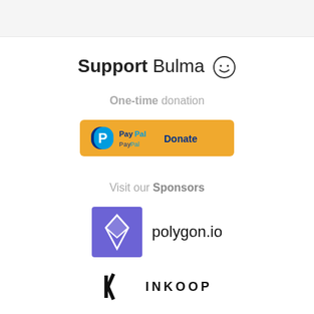Support Bulma 😊
One-time donation
[Figure (logo): PayPal Donate button with yellow background, PayPal logo and text 'Donate']
Visit our Sponsors
[Figure (logo): polygon.io sponsor logo: purple square with white diamond shape icon, followed by text 'polygon.io']
[Figure (logo): INKOOP sponsor logo: stylized IK monogram with text 'INKOOP' in spaced caps]